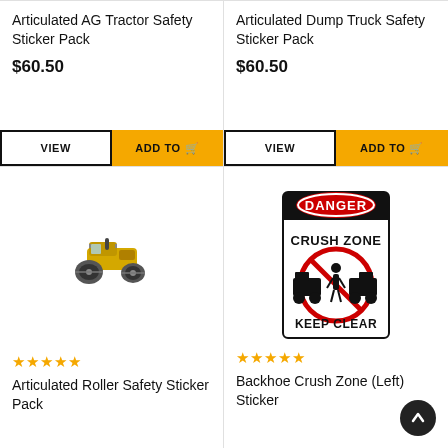Articulated AG Tractor Safety Sticker Pack
$60.50
Articulated Dump Truck Safety Sticker Pack
$60.50
[Figure (photo): Yellow articulated roller/paving machine, small product image on white background]
☆☆☆☆☆
Articulated Roller Safety Sticker Pack
[Figure (photo): Safety sticker/sign showing DANGER CRUSH ZONE KEEP CLEAR with red oval DANGER label, no-entry symbol over machinery with person silhouette]
☆☆☆☆☆
Backhoe Crush Zone (Left) Sticker